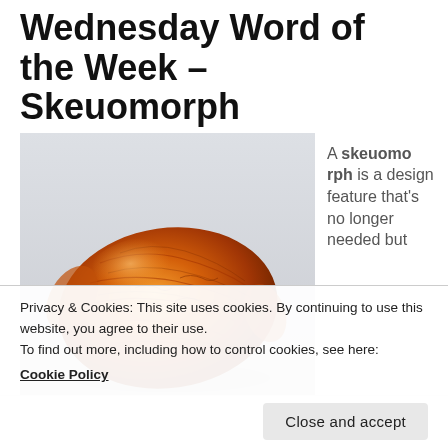Wednesday Word of the Week – Skeuomorph
[Figure (photo): An orange foil-wrapped chocolate candy photographed against a light grey background.]
A skeuomorph is a design feature that's no longer needed but
Privacy & Cookies: This site uses cookies. By continuing to use this website, you agree to their use.
To find out more, including how to control cookies, see here:
Cookie Policy
Close and accept
a different way) had whatever it is.